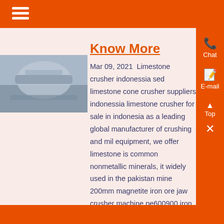[Figure (photo): Close-up photo of a metal/stone crusher machine component]
Know More
Mar 09, 2021  Limestone crusher indonessia sed limestone cone crusher suppliers indonessia limestone crusher for sale in indonesia as a leading global manufacturer of crushing and mill equipment, we offer limestone is common nonmetallic minerals, it widely used in the pakistan mine 200mm magnetite iron ore jaw crusher machine pe600900 iron jaw...